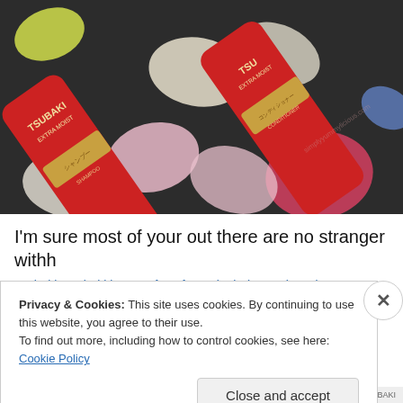[Figure (photo): Two red Tsubaki Extra Moist hair care bottles (shampoo and conditioner) lying on a dark surface surrounded by colorful flower petals in pink, white, yellow, and blue.]
I'm sure most of your out there are no stranger withh
Tsubaki! Tsubaki is one of my favourite hair care brand! I
Privacy & Cookies: This site uses cookies. By continuing to use this website, you agree to their use.
To find out more, including how to control cookies, see here: Cookie Policy
Close and accept